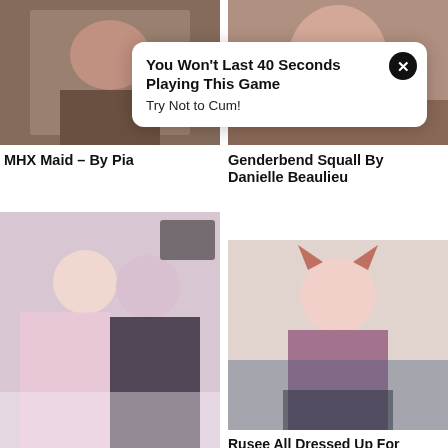[Figure (photo): Top left photo thumbnail — cosplay/adult content image]
[Figure (photo): Top right photo thumbnail — cosplay/adult content image]
[Figure (screenshot): Ad popup overlay: bold title 'You Won't Last 40 Seconds Playing This Game', subtitle 'Try Not to Cum!', with close X button]
MHX Maid – By Pia
Genderbend Squall By Danielle Beaulieu
[Figure (photo): Bottom left large photo — two cosplay women in lingerie costumes posing together]
[Figure (photo): Bottom right photo — woman in fox ears and corset outfit posing in bedroom]
Rusee All Dressed Up For Fun...